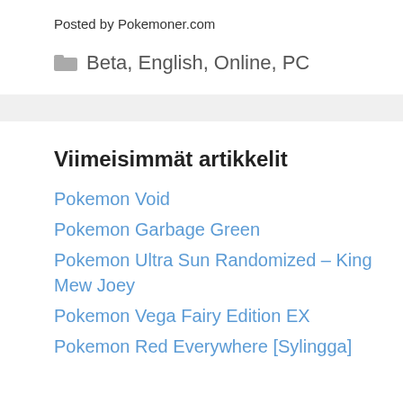Posted by Pokemoner.com
Beta, English, Online, PC
Viimeisimmät artikkelit
Pokemon Void
Pokemon Garbage Green
Pokemon Ultra Sun Randomized – King Mew Joey
Pokemon Vega Fairy Edition EX
Pokemon Red Everywhere [Sylingga]